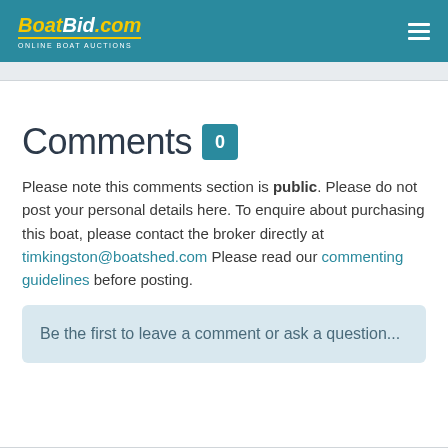BoatBid.com ONLINE BOAT AUCTIONS
Comments 0
Please note this comments section is public. Please do not post your personal details here. To enquire about purchasing this boat, please contact the broker directly at timkingston@boatshed.com Please read our commenting guidelines before posting.
Be the first to leave a comment or ask a question...